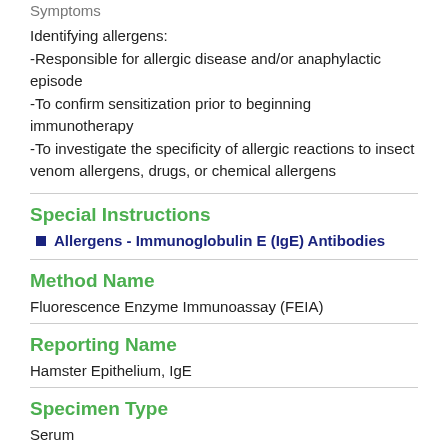Symptoms
Identifying allergens:
-Responsible for allergic disease and/or anaphylactic episode
-To confirm sensitization prior to beginning immunotherapy
-To investigate the specificity of allergic reactions to insect venom allergens, drugs, or chemical allergens
Special Instructions
Allergens - Immunoglobulin E (IgE) Antibodies
Method Name
Fluorescence Enzyme Immunoassay (FEIA)
Reporting Name
Hamster Epithelium, IgE
Specimen Type
Serum